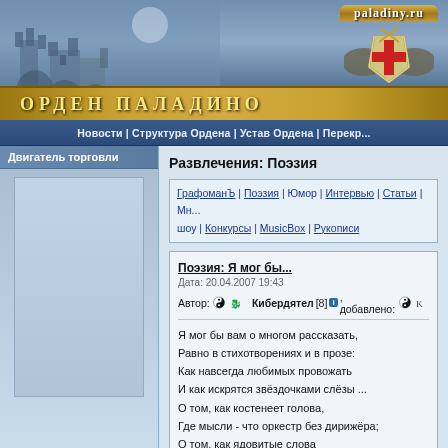[Figure (screenshot): Website header banner with castle illustration on the left and paladiny.ru shield emblem on the right, with golden ornate text reading ОРДЕН ПАЛАДИНО]
Новости | Структура Ордена | Устав Ордена | Перекр...
Двигатель торговли
Развлечения: Поэзия
ГрафоманЪ | Поэзия | Юмор | Интервью | Статьи | Мн... шоу | Конкурсы | MusicBox | Рукописи
Поэзия: Я мог бы...
Дата: 20.04.2007 19:43
Автор: [icons] Кибердятел [8] [i], добавлено: [icons] К...
Я мог бы вам о многом рассказать,
Равно в стихотворениях и в прозе:
Как навсегда любимых провожать
И как искрятся звёздочками слёзы ...
О том, как костенеет голова,
Где мысли - что оркестр без дирижёра;
О том, как ядовитые слова
Кружатся в бронебойном танце ссоры ...